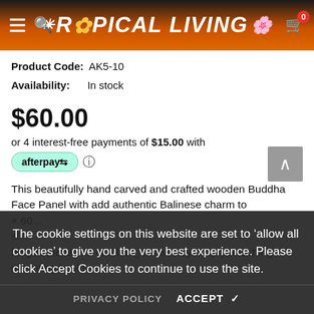Tropical Living — navigation header with hamburger, search, logo, and cart icon
Product Code: AK5-10
Availability: In stock
$60.00
or 4 interest-free payments of $15.00 with afterpay
This beautifully hand carved and crafted wooden Buddha Face Panel with add authentic Balinese charm to... x 60... sl... hinged pieces so can hang on wall by simply attaching mounting hooks...
The cookie settings on this website are set to 'allow all cookies' to give you the very best experience. Please click Accept Cookies to continue to use the site.